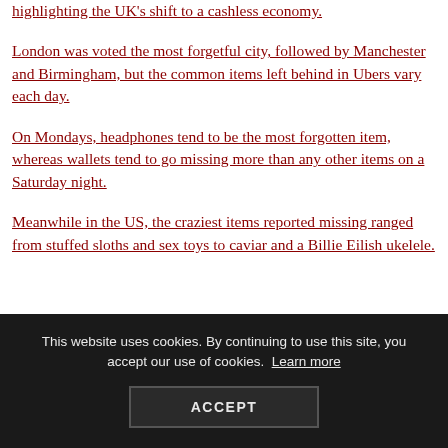highlighting the UK's shift to a cashless economy.
London was voted the most forgetful city, followed by Manchester and Birmingham, but the common items left behind in Ubers vary each day.
On Mondays, headphones tend to be the most forgotten item, whereas wallets tend to go missing more than any other items on a Saturday night.
Meanwhile in the US, the craziest items reported missing ranged from stuffed sloths and sex toys to caviar and a Billie Eilish ukelele.
This website uses cookies. By continuing to use this site, you accept our use of cookies. Learn more
ACCEPT